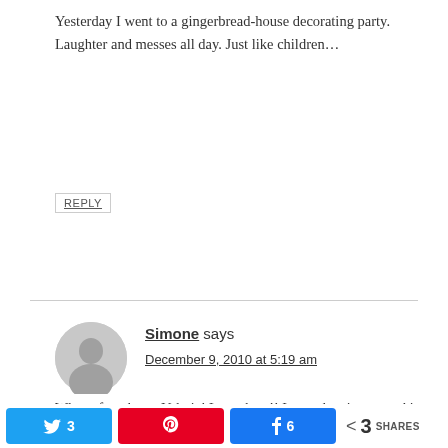Yesterday I went to a gingerbread-house decorating party. Laughter and messes all day. Just like children…
REPLY
Simone says
December 9, 2010 at 5:19 am
What a fun photos Valerie! Love them!! I was planning on making the gingerbread cookies today but… ofcourse… I ran into ingredient issues. I managed to find a source for shortening which I will have to order online
3  (Twitter) Pinterest (Facebook share) < 3 SHARES